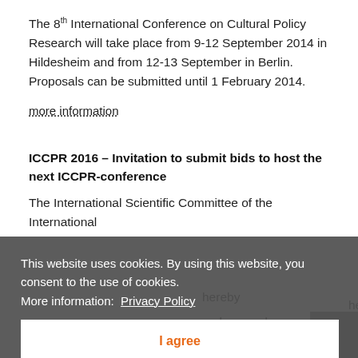The 8th International Conference on Cultural Policy Research will take place from 9-12 September 2014 in Hildesheim and from 12-13 September in Berlin. Proposals can be submitted until 1 February 2014.
more information
ICCPR 2016 – Invitation to submit bids to host the next ICCPR-conference
The International Scientific Committee of the International ... hereby ... archers and ... in hosting ... l Policy ... rs and/or ... CCPR 2016, ... and November 2016.
This website uses cookies. By using this website, you consent to the use of cookies. More information: Privacy Policy
I agree